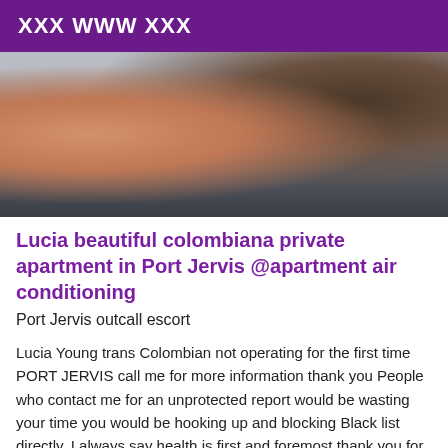XXX WWW XXX
[Figure (photo): A close-up photograph showing a person in an indoor setting, partially visible, with blurred background details.]
Lucia beautiful colombiana private apartment in Port Jervis @apartment air conditioning
Port Jervis outcall escort
Lucia Young trans Colombian not operating for the first time PORT JERVIS call me for more information thank you People who contact me for an unprotected report would be wasting your time you would be hooking up and blocking Black list directly, I always say health is first and foremost thank you for your respect and understanding.